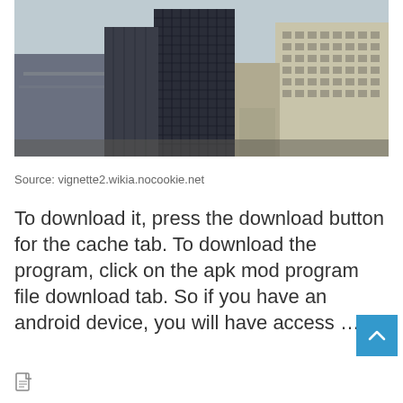[Figure (photo): Aerial view of city skyscrapers and buildings, including a tall dark glass tower in the center and cream-colored buildings on the right]
Source: vignette2.wikia.nocookie.net
To download it, press the download button for the cache tab. To download the program, click on the apk mod program file download tab. So if you have an android device, you will have access …